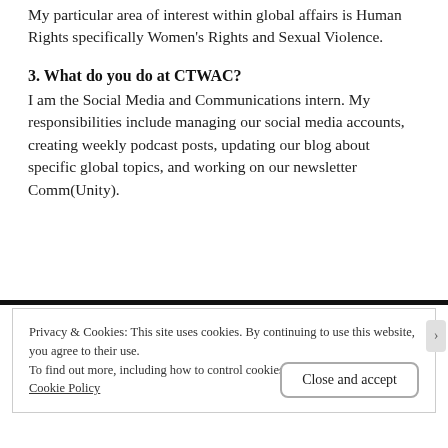My particular area of interest within global affairs is Human Rights specifically Women's Rights and Sexual Violence.
3. What do you do at CTWAC?
I am the Social Media and Communications intern. My responsibilities include managing our social media accounts, creating weekly podcast posts, updating our blog about specific global topics, and working on our newsletter Comm(Unity).
Privacy & Cookies: This site uses cookies. By continuing to use this website, you agree to their use.
To find out more, including how to control cookies, see here:
Cookie Policy